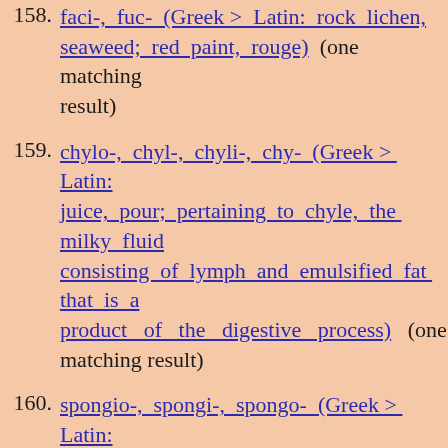158. faci-, fuc- (Greek > Latin: rock lichen, seaweed; red paint, rouge) (one matching result)
159. chylo-, chyl-, chyli-, chy- (Greek > Latin: juice, pour; pertaining to chyle, the milky fluid consisting of lymph and emulsified fat that is a product of the digestive process) (one matching result)
160. spongio-, spongi-, spongo- (Greek > Latin: sponge) (one matching result)
161. zono-, zon-, zoni- (Greek > Latin: girdle, girded garment) (one matching result)
162. oxal-, ox- (Greek > Latin: wood sorrel; the leaves of the wood sorrel are acidic to the taste) (one matching result)
163. mammill-, mammilli- (Greek > Latin: breast, nipple) (one matching result)